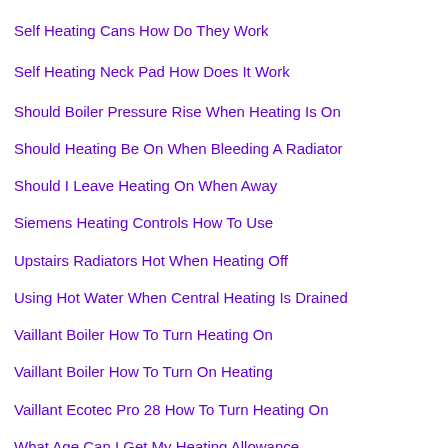Self Heating Cans How Do They Work
Self Heating Neck Pad How Does It Work
Should Boiler Pressure Rise When Heating Is On
Should Heating Be On When Bleeding A Radiator
Should I Leave Heating On When Away
Siemens Heating Controls How To Use
Upstairs Radiators Hot When Heating Off
Using Hot Water When Central Heating Is Drained
Vaillant Boiler How To Turn Heating On
Vaillant Boiler How To Turn On Heating
Vaillant Ecotec Pro 28 How To Turn Heating On
What Age Can I Get My Heating Allowance